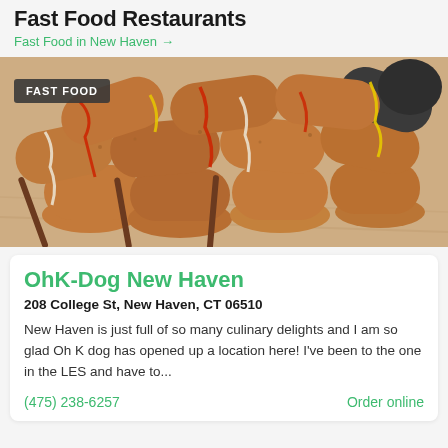Fast Food Restaurants
Fast Food in New Haven →
[Figure (photo): Pile of Korean corn dogs (hot dogs on sticks, coated in breading and drizzled with colorful sauces including ketchup, mustard, and mayo) on a wooden surface. A dark badge reading 'FAST FOOD' overlays the top-left corner of the image.]
OhK-Dog New Haven
208 College St, New Haven, CT 06510
New Haven is just full of so many culinary delights and I am so glad Oh K dog has opened up a location here! I've been to the one in the LES and have to...
(475) 238-6257
Order online